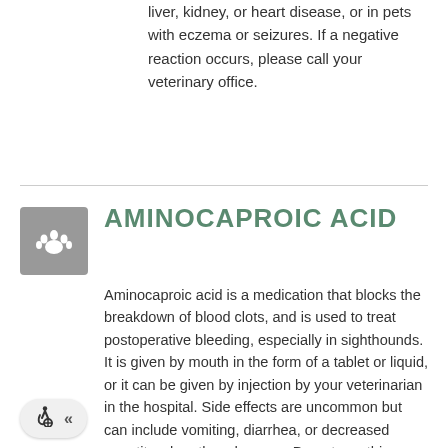liver, kidney, or heart disease, or in pets with eczema or seizures. If a negative reaction occurs, please call your veterinary office.
AMINOCAPROIC ACID
Aminocaproic acid is a medication that blocks the breakdown of blood clots, and is used to treat postoperative bleeding, especially in sighthounds. It is given by mouth in the form of a tablet or liquid, or it can be given by injection by your veterinarian in the hospital. Side effects are uncommon but can include vomiting, diarrhea, or decreased appetite when they do occur. Do not use this medication in pets that are currently experiencing clotting in the vessels, and use with caution in pets with heart, liver, or kidney disease. If a negative reaction occurs, call your veterinary office.